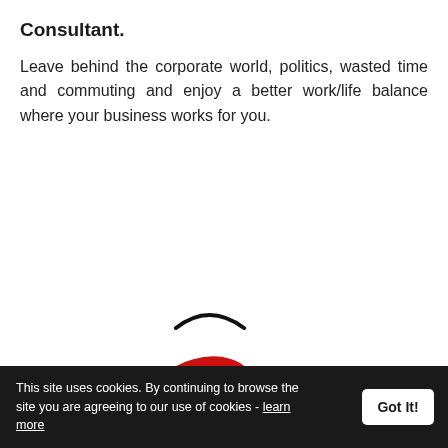Consultant.
Leave behind the corporate world, politics, wasted time and commuting and enjoy a better work/life balance where your business works for you.
[Figure (logo): Company logo featuring a red swirl/hook shape with a black arc above it and a small red dot at bottom left, alongside a blue italic letter 'a' to the right]
This site uses cookies. By continuing to browse the site you are agreeing to our use of cookies - learn more